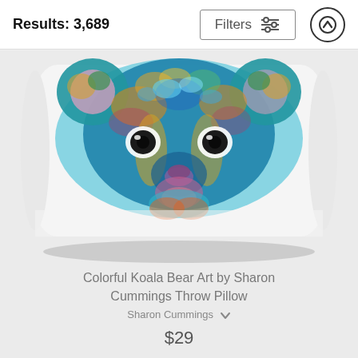Results: 3,689
[Figure (screenshot): Filters button with sliders icon and up-arrow circle button in top navigation bar]
[Figure (photo): Colorful koala bear art throw pillow product image showing a vibrant multicolored painted koala face on a white rectangular pillow]
Colorful Koala Bear Art by Sharon Cummings Throw Pillow
Sharon Cummings
$29